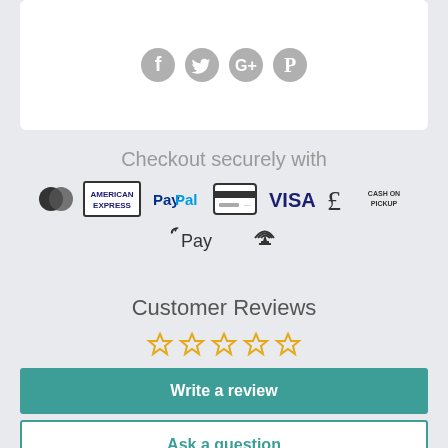[Figure (illustration): Social media icons: Facebook, Twitter, Google+, Pinterest in grey circle style]
Checkout securely with
[Figure (illustration): Payment method icons: Mastercard, American Express, PayPal, credit card, VISA, pound sterling, Cash on Pickup, Apple Pay, contactless payment]
Customer Reviews
[Figure (illustration): Five empty/outline star rating icons in orange/gold color]
Be the first to write a review
Write a review
Ask a question